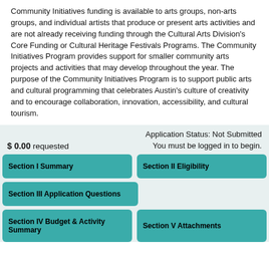Community Initiatives funding is available to arts groups, non-arts groups, and individual artists that produce or present arts activities and are not already receiving funding through the Cultural Arts Division's Core Funding or Cultural Heritage Festivals Programs. The Community Initiatives Program provides support for smaller community arts projects and activities that may develop throughout the year. The purpose of the Community Initiatives Program is to support public arts and cultural programming that celebrates Austin's culture of creativity and to encourage collaboration, innovation, accessibility, and cultural tourism.
Application Status: Not Submitted
You must be logged in to begin.
$ 0.00 requested
Section I Summary
Section II Eligibility
Section III Application Questions
Section IV Budget & Activity Summary
Section V Attachments